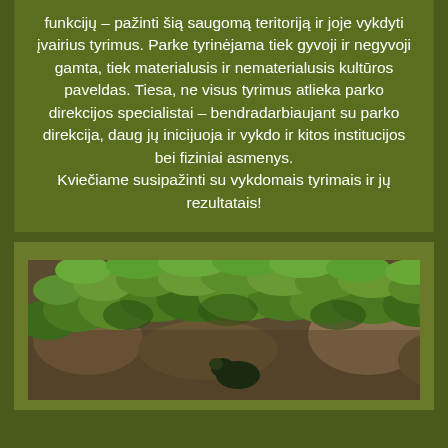funkcijų – pažinti šią saugomą teritoriją ir joje vykdyti įvairius tyrimus. Parke tyrinėjama tiek gyvoji ir negyvoji gamta, tiek materialusis ir nematerialusis kultūros paveldas. Tiesa, ne visus tyrimus atlieka parko direkcijos specialistai – bendradarbiaujant su parko direkcija, daug jų inicijuoja ir vykdo ir kitos institucijos bei fiziniai asmenys.
Kviečiame susipažinti su vykdomais tyrimais ir jų rezultatais!
[Figure (photo): Close-up photograph of green ground-covering plants (possibly juniper or similar low shrub) growing over rocky/earthy terrain, viewed from above.]